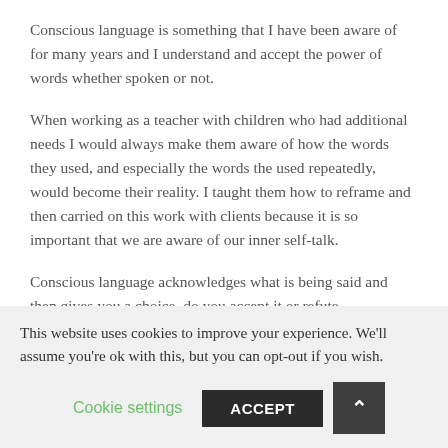Conscious language is something that I have been aware of for many years and I understand and accept the power of words whether spoken or not.
When working as a teacher with children who had additional needs I would always make them aware of how the words they used, and especially the words the used repeatedly, would become their reality. I taught them how to reframe and then carried on this work with clients because it is so important that we are aware of our inner self-talk.
Conscious language acknowledges what is being said and then gives you a choice, do you accept it or refute
This website uses cookies to improve your experience. We'll assume you're ok with this, but you can opt-out if you wish.
Cookie settings
ACCEPT